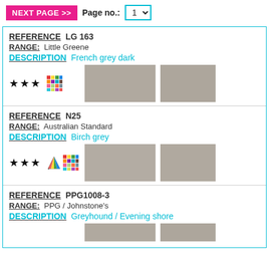NEXT PAGE >> Page no.: 1
REFERENCE LG 163
RANGE: Little Greene
DESCRIPTION French grey dark
[Figure (illustration): Three stars rating icon, color grid swatch icon, large grey color swatch, smaller grey color swatch]
REFERENCE N25
RANGE: Australian Standard
DESCRIPTION Birch grey
[Figure (illustration): Three stars rating icon, triangle fan icon and color grid swatch icon, large grey color swatch, smaller grey color swatch]
REFERENCE PPG1008-3
RANGE: PPG / Johnstone's
DESCRIPTION Greyhound / Evening shore
[Figure (illustration): Partial view of color swatches at bottom]